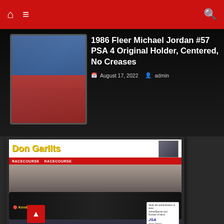Navigation bar with home, menu, and search icons
1986 Fleer Michael Jordan #57 PSA 4 Original Holder, Centered, No Creases
August 17, 2022  admin
[Figure (photo): Don Garlits signed framed photo showing a dragster racing car with JSA authentication sticker and certificate. The framed piece features a Don Garlits header with yellow text, a red band, and a main photograph of a black dragster car on a track with crowd in background. A JSA Basic Certification sticker is visible, along with a smaller JSA authentication card at bottom.]